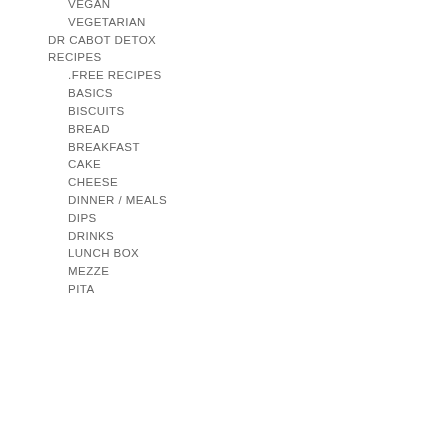VEGAN
VEGETARIAN
DR CABOT DETOX
RECIPES
.FREE RECIPES
BASICS
BISCUITS
BREAD
BREAKFAST
CAKE
CHEESE
DINNER / MEALS
DIPS
DRINKS
LUNCH BOX
MEZZE
PITA